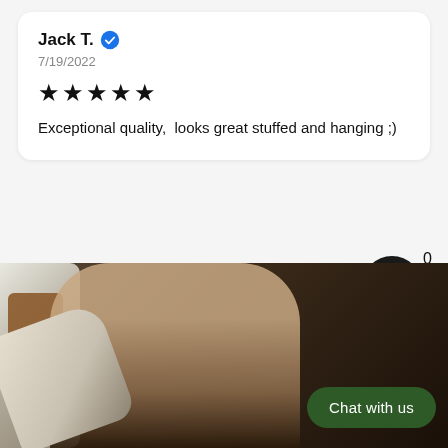Jack T. ✔
7/19/2022
★★★★★
Exceptional quality,  looks great stuffed and hanging ;)
[Figure (screenshot): Dark shopping cart button with badge showing 0]
[Figure (photo): Person in white t-shirt with boxing gloves, heavy bag visible on left, dark background]
Chat with us